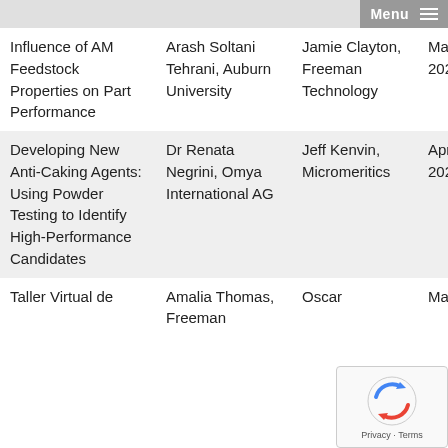| Title | Author | Presenter | Date |
| --- | --- | --- | --- |
| Influence of AM Feedstock Properties on Part Performance | Arash Soltani Tehrani, Auburn University | Jamie Clayton, Freeman Technology | March 16, 2022 |
| Developing New Anti-Caking Agents: Using Powder Testing to Identify High-Performance Candidates | Dr Renata Negrini, Omya International AG | Jeff Kenvin, Micromeritics | April 6 2022 |
| Taller Virtual de | Amalia Thomas, Freeman | Oscar | March |